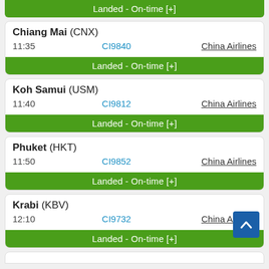Landed - On-time [+]
Chiang Mai (CNX)
11:35   CI9840   China Airlines
Landed - On-time [+]
Koh Samui (USM)
11:40   CI9812   China Airlines
Landed - On-time [+]
Phuket (HKT)
11:50   CI9852   China Airlines
Landed - On-time [+]
Krabi (KBV)
12:10   CI9732   China Airlines
Landed - On-time [+]